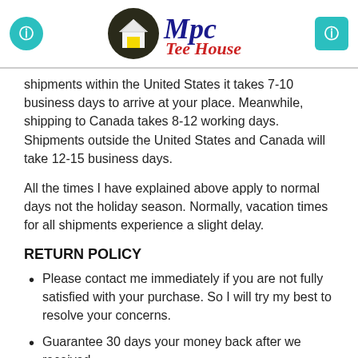Mpc Tee House header with navigation buttons
shipments within the United States it takes 7-10 business days to arrive at your place. Meanwhile, shipping to Canada takes 8-12 working days. Shipments outside the United States and Canada will take 12-15 business days.
All the times I have explained above apply to normal days not the holiday season. Normally, vacation times for all shipments experience a slight delay.
RETURN POLICY
Please contact me immediately if you are not fully satisfied with your purchase. So I will try my best to resolve your concerns.
Guarantee 30 days your money back after we received